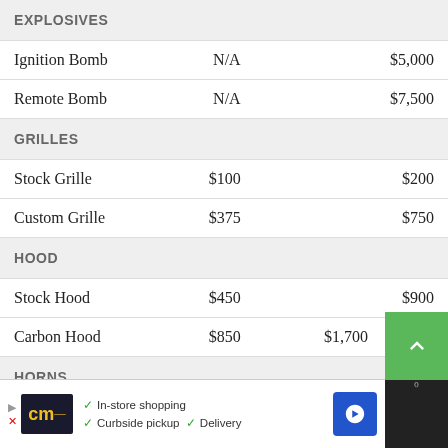EXPLOSIVES
| Item | Price 1 | Price 2 |
| --- | --- | --- |
| Ignition Bomb | N/A | $5,000 |
| Remote Bomb | N/A | $7,500 |
GRILLES
| Item | Price 1 | Price 2 |
| --- | --- | --- |
| Stock Grille | $100 | $200 |
| Custom Grille | $375 | $750 |
HOOD
| Item | Price 1 | Price 2 |
| --- | --- | --- |
| Stock Hood | $450 | $900 |
| Carbon Hood | $850 | $1,700 |
HORNS
See the full list of the available Horns options »
LIGHTS / HEADLIGHTS
| Item | Price 1 | Price 2 |
| --- | --- | --- |
| Stock ... |  | $400 |